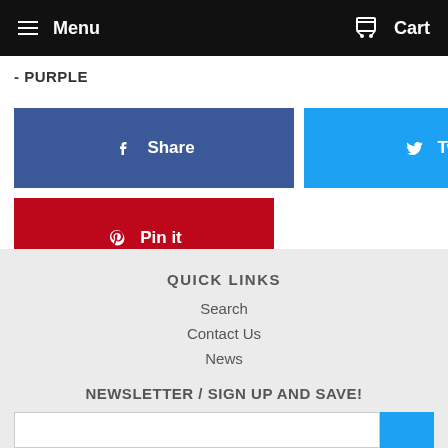Menu   Cart
- PURPLE
[Figure (screenshot): Facebook Share button (blue), Twitter Tweet button (cyan), Pinterest Pin it button (red)]
QUICK LINKS
Search
Contact Us
News
NEWSLETTER / SIGN UP AND SAVE!
[Figure (screenshot): Newsletter email input field with blue submit button]